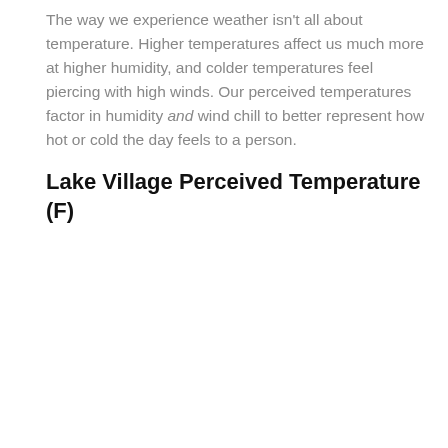The way we experience weather isn't all about temperature. Higher temperatures affect us much more at higher humidity, and colder temperatures feel piercing with high winds. Our perceived temperatures factor in humidity and wind chill to better represent how hot or cold the day feels to a person.
Lake Village Perceived Temperature (F)